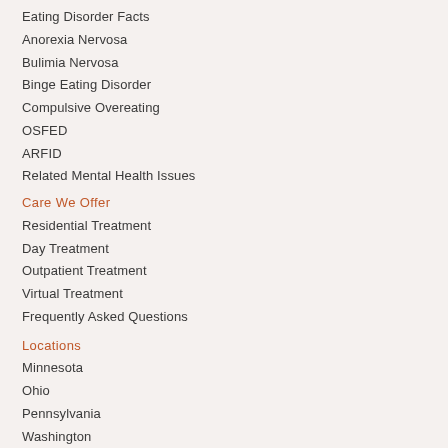Eating Disorder Facts
Anorexia Nervosa
Bulimia Nervosa
Binge Eating Disorder
Compulsive Overeating
OSFED
ARFID
Related Mental Health Issues
Care We Offer
Residential Treatment
Day Treatment
Outpatient Treatment
Virtual Treatment
Frequently Asked Questions
Locations
Minnesota
Ohio
Pennsylvania
Washington
Lodging Accommodations
Veritas Collaborative Locations
Get Started
What To Expect